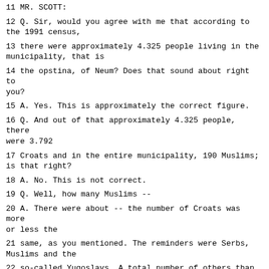11 MR. SCOTT:
12 Q. Sir, would you agree with me that according to the 1991 census,
13 there were approximately 4.325 people living in the municipality, that is
14 the opstina, of Neum? Does that sound about right to you?
15 A. Yes. This is approximately the correct figure.
16 Q. And out of that approximately 4.325 people, there were 3.792
17 Croats and in the entire municipality, 190 Muslims; is that right?
18 A. No. This is not correct.
19 Q. Well, how many Muslims --
20 A. There were about -- the number of Croats was more or less the
21 same, as you mentioned. The reminders were Serbs, Muslims and the
22 so-called Yugoslavs. A total number of others than Croats was about 12 to